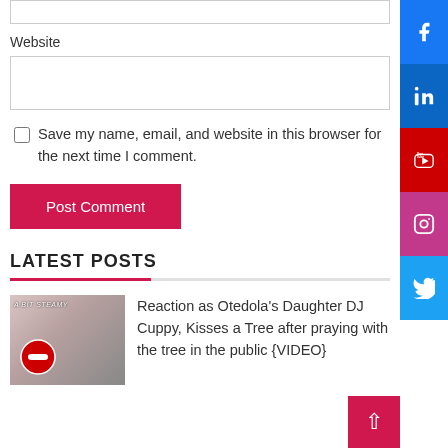Website
Save my name, email, and website in this browser for the next time I comment.
Post Comment
LATEST POSTS
Reaction as Otedola's Daughter DJ Cuppy, Kisses a Tree after praying with the tree in the public {VIDEO}